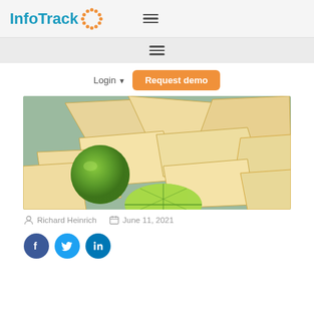InfoTrack — navigation bar with logo and hamburger menu
Secondary navigation bar with hamburger menu
Login ▾   Request demo
[Figure (photo): Tortilla chips and lime slices on a teal/blue surface]
Richard Heinrich   June 11, 2021
[Figure (infographic): Social share icons: Facebook, Twitter, LinkedIn]